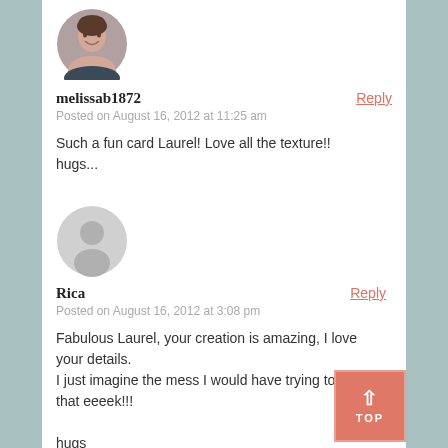[Figure (photo): Circular avatar photo of a smiling woman with dark hair]
melissab1872
Posted on August 16, 2012 at 11:25 am
Such a fun card Laurel! Love all the texture!!
hugs...
[Figure (illustration): Generic gray avatar placeholder with person silhouette]
Rica
Posted on August 16, 2012 at 3:08 pm
Fabulous Laurel, your creation is amazing, I love your details.
I just imagine the mess I would have trying to create that eeeek!!!

hugs
Heather xx